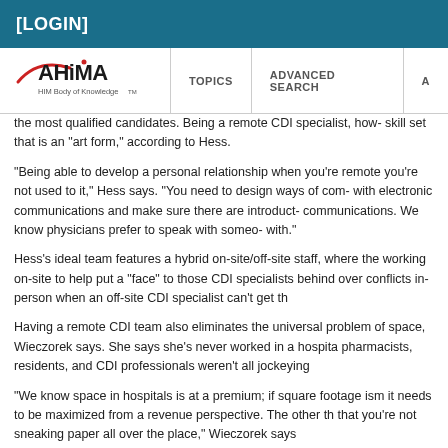[LOGIN]
[Figure (logo): AHIMA HIM Body of Knowledge logo with navigation links: TOPICS, ADVANCED SEARCH, A...]
the most qualified candidates. Being a remote CDI specialist, how- skill set that is an “art form,” according to Hess.
“Being able to develop a personal relationship when you’re remote you’re not used to it,” Hess says. “You need to design ways of com- with electronic communications and make sure there are introduct- communications. We know physicians prefer to speak with someo- with.”
Hess’s ideal team features a hybrid on-site/off-site staff, where the working on-site to help put a “face” to those CDI specialists behind over conflicts in-person when an off-site CDI specialist can’t get th
Having a remote CDI team also eliminates the universal problem of space, Wieczorek says. She says she’s never worked in a hospita pharmacists, residents, and CDI professionals weren’t all jockeying
“We know space in hospitals is at a premium; if square footage ism it needs to be maximized from a revenue perspective. The other th that you’re not sneaking paper all over the place,” Wieczorek says